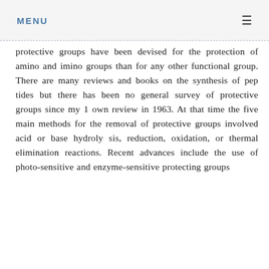MENU ≡
protective groups have been devised for the protection of amino and imino groups than for any other functional group. There are many reviews and books on the synthesis of pep tides but there has been no general survey of protective groups since my 1 own review in 1963. At that time the five main methods for the removal of protective groups involved acid or base hydroly sis, reduction, oxidation, or thermal elimination reactions. Recent advances include the use of photo-sensitive and enzyme-sensitive protecting groups